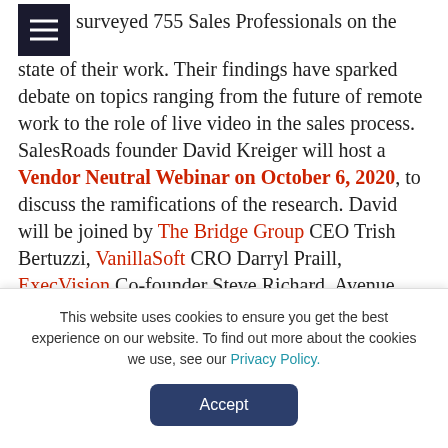surveyed 755 Sales Professionals on the state of their work. Their findings have sparked debate on topics ranging from the future of remote work to the role of live video in the sales process. SalesRoads founder David Kreiger will host a Vendor Neutral Webinar on October 6, 2020, to discuss the ramifications of the research. David will be joined by The Bridge Group CEO Trish Bertuzzi, VanillaSoft CRO Darryl Praill, ExecVision Co-founder Steve Richard, Avenue Talent Partners Founder & CEO Amy Volas and ConnectSell...
This website uses cookies to ensure you get the best experience on our website. To find out more about the cookies we use, see our Privacy Policy.